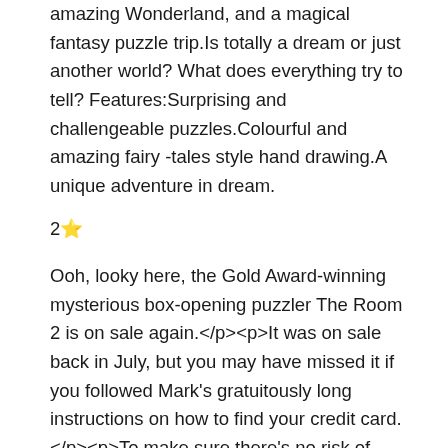amazing Wonderland, and a magical fantasy puzzle trip.Is totally a dream or just another world? What does everything try to tell? Features:Surprising and challengeable puzzles.Colourful and amazing fairy -tales style hand drawing.A unique adventure in dream.
2️⃣<p>Ooh, looky here, the Gold Award-winning mysterious box-opening puzzler The Room 2 is on sale again.</p><p>It was on sale back in July, but you may have missed it if you followed Mark's gratuitously long instructions on how to find your credit card.</p><p>To make sure there's no risk of that happening again, I'll keep this snappy.</p><p>The Room 2 is normally priced at £1.99 / $2.99, but for a limited time, you can purchase it for 69p / 99c on iOS and Android.</p><p>You can do that right now, in fact. Head over to the App Store [buy] or Google Play [buy] and hand over your digital pennies to do so.</p><p>We reviewed The Room 2 and said that it is a "brilliant sequel that expands the lore and scope of its predecessor." We also added